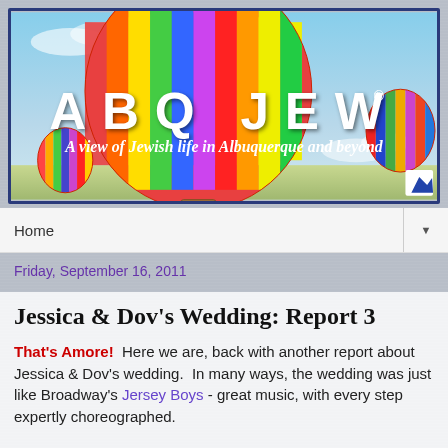[Figure (illustration): ABQ JEW blog banner with colorful hot air balloons in a blue sky background. Large white bold letters spell 'ABQ JEW' with a registered trademark symbol. Below in italic white text: 'A view of Jewish life in Albuquerque and beyond'. A small mountain logo appears in the bottom right corner. The banner is framed with a dark navy border.]
Home
Friday, September 16, 2011
Jessica & Dov's Wedding: Report 3
That's Amore!  Here we are, back with another report about Jessica & Dov's wedding.  In many ways, the wedding was just like Broadway's Jersey Boys - great music, with every step expertly choreographed.